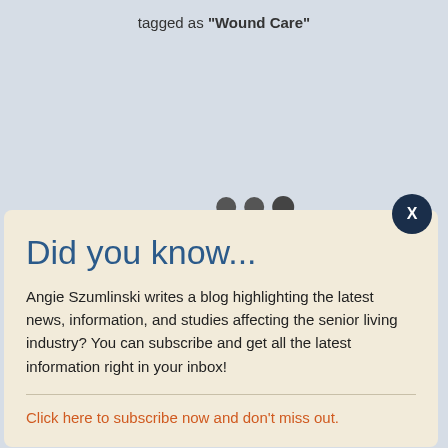tagged as “Wound Care”
Did you know...
Angie Szumlinski writes a blog highlighting the latest news, information, and studies affecting the senior living industry? You can subscribe and get all the latest information right in your inbox!
Click here to subscribe now and don’t miss out.